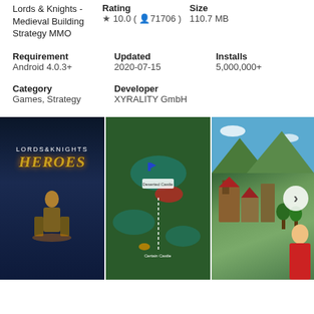Lords & Knights - Medieval Building Strategy MMO
Rating
★ 10.0 ( 👤 71706 )
Size
110.7 MB
Requirement
Android 4.0.3+
Updated
2020-07-15
Installs
5,000,000+
Category
Games, Strategy
Developer
XYRALITY GmbH
[Figure (screenshot): Three screenshots from Lords & Knights - Heroes game: title screen with heroes, battle map view, and castle building view]
[Figure (screenshot): Lords & Knights Heroes title screen with fantasy characters]
[Figure (screenshot): Lords & Knights battle map overhead view with troops]
[Figure (screenshot): Lords & Knights castle building view with medieval town]